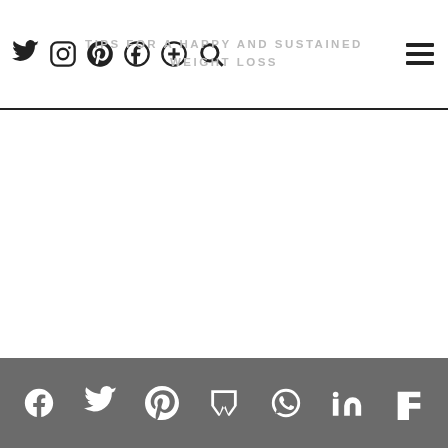TIPS FOR A HAPPY AND SUSTAINED WEIGHT LOSS
Social share icons: Facebook, Twitter, Pinterest, Mix, WhatsApp, LinkedIn, Flipboard